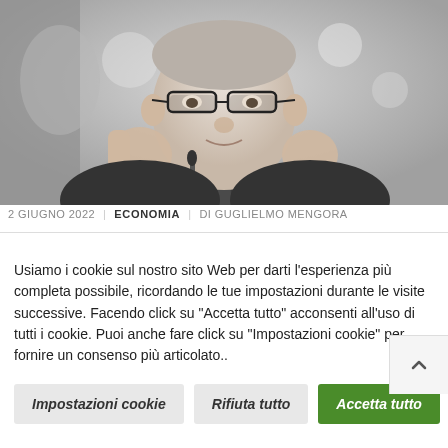[Figure (photo): Grayscale photo of a man in a suit speaking at a podium with microphones, gesturing with both hands, wearing glasses, with blurred flags in the background.]
2 GIUGNO 2022 | ECONOMIA | DI GUGLIELMO MENGORA
Usiamo i cookie sul nostro sito Web per darti l'esperienza più completa possibile, ricordando le tue impostazioni durante le visite successive. Facendo click su "Accetta tutto" acconsenti all'uso di tutti i cookie. Puoi anche fare click su "Impostazioni cookie" per fornire un consenso più articolato..
Impostazioni cookie
Rifiuta tutto
Accetta tutto